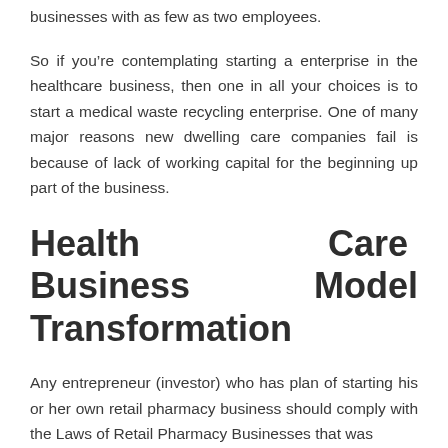businesses with as few as two employees.
So if you're contemplating starting a enterprise in the healthcare business, then one in all your choices is to start a medical waste recycling enterprise. One of many major reasons new dwelling care companies fail is because of lack of working capital for the beginning up part of the business.
Health Care Business Model Transformation
Any entrepreneur (investor) who has plan of starting his or her own retail pharmacy business should comply with the Laws of Retail Pharmacy Businesses that was